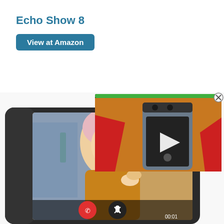Echo Show 8
View at Amazon
[Figure (photo): Photo of the Amazon Echo Show 8 smart display showing a video call with a woman, with call controls visible (red hang-up button, mute button). An overlaid popup shows a smartphone (Pixel 6) with a video play button on a red/orange blurred background. A circular close (X) button is visible in the top-right of the popup.]